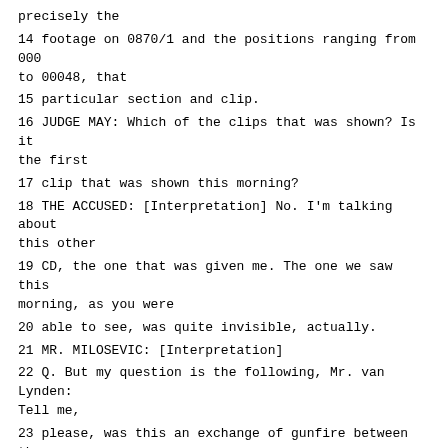precisely the
14 footage on 0870/1 and the positions ranging from 000 to 00048, that
15 particular section and clip.
16 JUDGE MAY: Which of the clips that was shown? Is it the first
17 clip that was shown this morning?
18 THE ACCUSED: [Interpretation] No. I'm talking about this other
19 CD, the one that was given me. The one we saw this morning, as you were
20 able to see, was quite invisible, actually.
21 MR. MILOSEVIC: [Interpretation]
22 Q. But my question is the following, Mr. van Lynden: Tell me,
23 please, was this an exchange of gunfire between the Muslim forces and the
24 Serb forces? Is that what it was about or was it just one-sided, fire
25 from one side, from the Serb positions, what you